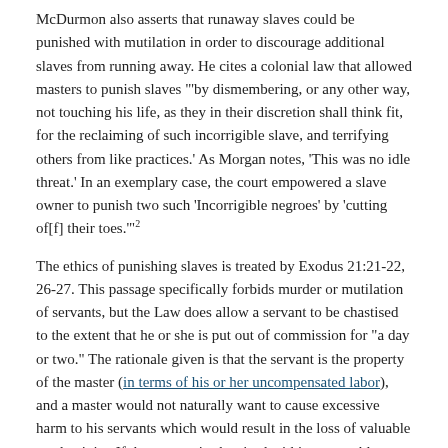McDurmon also asserts that runaway slaves could be punished with mutilation in order to discourage additional slaves from running away. He cites a colonial law that allowed masters to punish slaves "'by dismembering, or any other way, not touching his life, as they in their discretion shall think fit, for the reclaiming of such incorrigible slave, and terrifying others from like practices.' As Morgan notes, 'This was no idle threat.' In an exemplary case, the court empowered a slave owner to punish two such 'Incorrigible negroes' by 'cutting of[f] their toes.'"2
The ethics of punishing slaves is treated by Exodus 21:21-22, 26-27. This passage specifically forbids murder or mutilation of servants, but the Law does allow a servant to be chastised to the extent that he or she is put out of commission for "a day or two." The rationale given is that the servant is the property of the master (in terms of his or her uncompensated labor), and a master would not naturally want to cause excessive harm to his servants which would result in the loss of valuable productivity. If the servant is chastised within reasonable limits, the presumption of the Law is that this punishment is deserved, but masters who could not control their anger and caused permanent damage to slaves were unfit and had to allow the wronged slaves to go free. I mention this because this is anathema to the modern academics whom McDurmon has consulted. They would undeniably consider passages like this from the Bible to be a source of the evils that they report.
McDurmon's sources are utterly at variance with the scholarship of